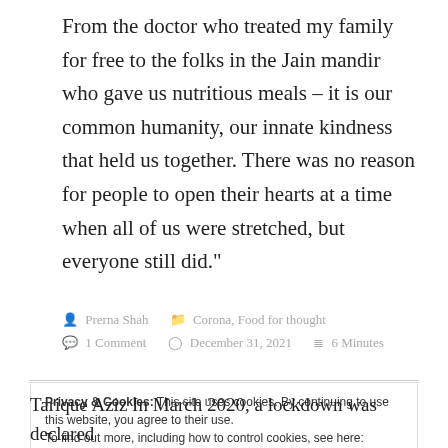From the doctor who treated my family for free to the folks in the Jain mandir who gave us nutritious meals – it is our common humanity, our innate kindness that held us together. There was no reason for people to open their hearts at a time when all of us were stretched, but everyone still did."
Prerna Shah   Corona, Food for thought   1 Comment   December 31, 2021   6 Minutes
Privacy & Cookies: This site uses cookies. By continuing to use this website, you agree to their use. To find out more, including how to control cookies, see here: Cookie Policy
Tarique Aziz In March 2020, a lockdown was declared